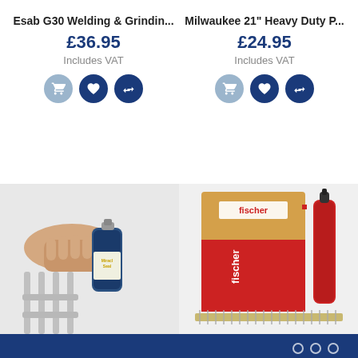Esab G30 Welding & Grindin...
£36.95
Includes VAT
Milwaukee 21" Heavy Duty P...
£24.95
Includes VAT
[Figure (photo): Hand holding a Miracle Seal spray can near a chrome towel rail/radiator]
[Figure (photo): Fischer branded red box with a foam gun canister next to it and nails in foreground]
○ ○ ○